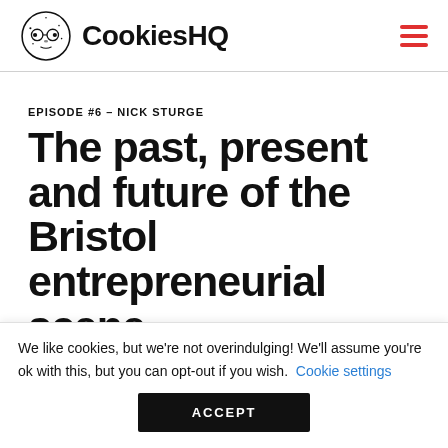CookiesHQ
EPISODE #6 – NICK STURGE
The past, present and future of the Bristol entrepreneurial scene
We like cookies, but we're not overindulging! We'll assume you're ok with this, but you can opt-out if you wish. Cookie settings ACCEPT